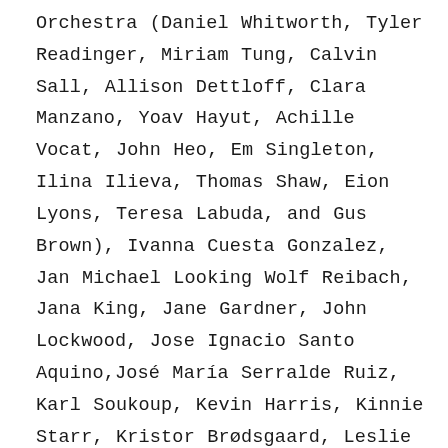Orchestra (Daniel Whitworth, Tyler Readinger, Miriam Tung, Calvin Sall, Allison Dettloff, Clara Manzano, Yoav Hayut, Achille Vocat, John Heo, Em Singleton, Ilina Ilieva, Thomas Shaw, Eion Lyons, Teresa Labuda, and Gus Brown), Ivanna Cuesta Gonzalez, Jan Michael Looking Wolf Reibach, Jana King, Jane Gardner, John Lockwood, Jose Ignacio Santo Aquino, José María Serralde Ruiz, Karl Soukoup, Kevin Harris, Kinnie Starr, Kristor Brødsgaard, Leslie Dukes, Libby Meyer, Lillian Henley, Lorena Ruiz Trejo, María Fernanda García Solar, Mark Weaver, Martha Mooke, Meg Morley, Michael Dessen, Nadia Citlali Cano Castañeda, Naomi Greena Nakanishi, Nate Hubbard, Niclas Compagno, Peter Valsamis, Phil McGowan, Renée C. Baker, Renée T. Coulombe, Roella Oloro, Santiago Bertel, Sara Ontaneda, Sean Sonderegger, Steven Montecucco,